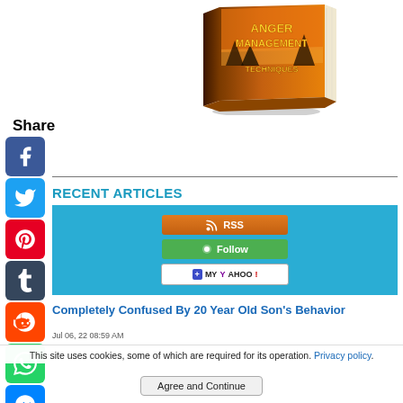[Figure (illustration): Book cover for 'Anger Management Techniques' with orange/sunset design, shown as a 3D tilted book]
Share
[Figure (infographic): Social share icons column: Facebook (blue), Twitter (blue), Pinterest (red), Tumblr (dark), Reddit (orange), WhatsApp (green), Messenger (blue)]
[Figure (infographic): RSS feed subscription box on blue background with RSS button (orange), Follow button (green), and My Yahoo! button (white)]
RECENT ARTICLES
Completely Confused By 20 Year Old Son's Behavior
Jul 06, 22 08:59 AM
This site uses cookies, some of which are required for its operation. Privacy policy.
Agree and Continue